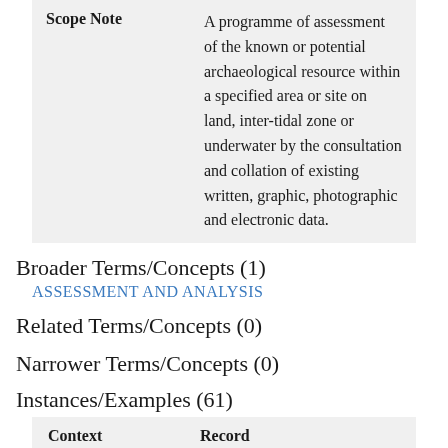| Scope Note | Description |
| --- | --- |
| Scope Note | A programme of assessment of the known or potential archaeological resource within a specified area or site on land, inter-tidal zone or underwater by the consultation and collation of existing written, graphic, photographic and electronic data. |
Broader Terms/Concepts (1)
ASSESSMENT AND ANALYSIS
Related Terms/Concepts (0)
Narrower Terms/Concepts (0)
Instances/Examples (61)
| Context | Record |
| --- | --- |
| Event | EEM14127 1992: SV... park restoration |